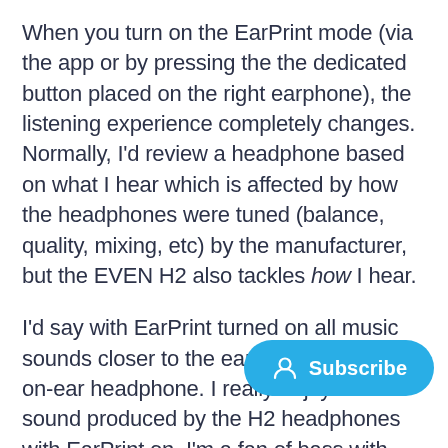When you turn on the EarPrint mode (via the app or by pressing the the dedicated button placed on the right earphone), the listening experience completely changes. Normally, I'd review a headphone based on what I hear which is affected by how the headphones were tuned (balance, quality, mixing, etc) by the manufacturer, but the EVEN H2 also tackles how I hear.
I'd say with EarPrint turned on all music sounds closer to the ear than a normal on-ear headphone. I really enjoyed the sound produced by the H2 headphones with EarPrint on, I'm a fan of bass with my mu[sic but not in] an overwhelming manner. I found [the bass] placement to be better than other